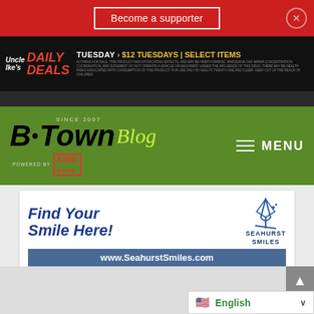Become a supporter
[Figure (advertisement): Uncle Ike's Daily Deals banner ad: TUESDAY > $12 Tuesdays | SELECT ITEMS]
[Figure (logo): The B·Town Blog Since 2007, Powered by King Media logo on green background with MENU hamburger]
[Figure (advertisement): Seahurst Smiles dental ad: Find Your Smile Here! with sailboat logo and www.SeahurstSmiles.com URL bar]
English